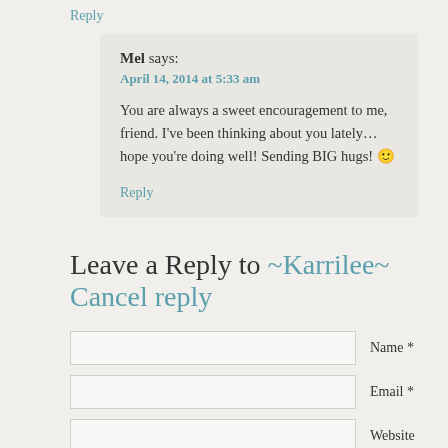Reply
Mel says:
April 14, 2014 at 5:33 am
You are always a sweet encouragement to me, friend. I've been thinking about you lately…hope you're doing well! Sending BIG hugs! 🙂
Reply
Leave a Reply to ~Karrilee~ Cancel reply
Name *
Email *
Website